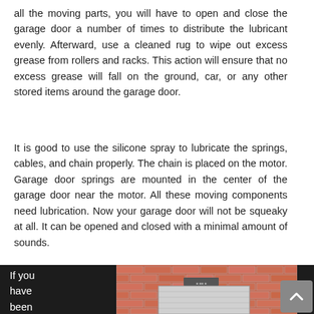all the moving parts, you will have to open and close the garage door a number of times to distribute the lubricant evenly. Afterward, use a cleaned rug to wipe out excess grease from rollers and racks. This action will ensure that no excess grease will fall on the ground, car, or any other stored items around the garage door.
It is good to use the silicone spray to lubricate the springs, cables, and chain properly. The chain is placed on the motor. Garage door springs are mounted in the center of the garage door near the motor. All these moving components need lubrication. Now your garage door will not be squeaky at all. It can be opened and closed with a minimal amount of sounds.
If you have been parke d
[Figure (photo): A brick wall building with a white roll-up garage door and a small sign above the door.]